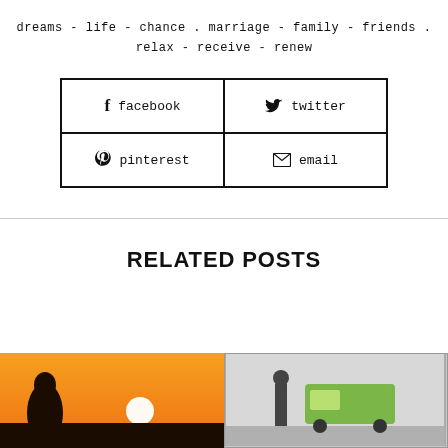dreams - life - chance . marriage - family - friends . relax - receive - renew
[Figure (infographic): Four social share buttons in a 2x2 grid with icons: facebook, twitter, pinterest, email]
RELATED POSTS
[Figure (photo): Sunset photo with silhouette of person and bright orange sky with sun]
[Figure (photo): Indoor/garage scene with a green van and a person, viewed through glass]